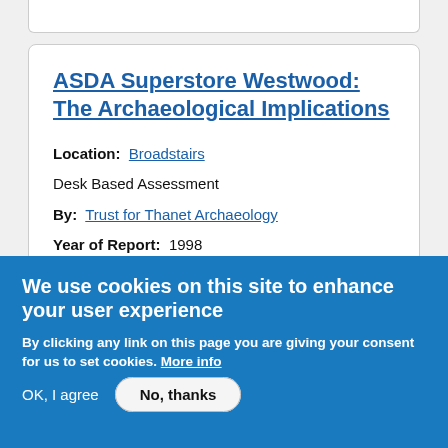ASDA Superstore Westwood: The Archaeological Implications
Location: Broadstairs
Desk Based Assessment
By: Trust for Thanet Archaeology
Year of Report: 1998
Historic Environment Record: True
We use cookies on this site to enhance your user experience
By clicking any link on this page you are giving your consent for us to set cookies. More info
OK, I agree
No, thanks